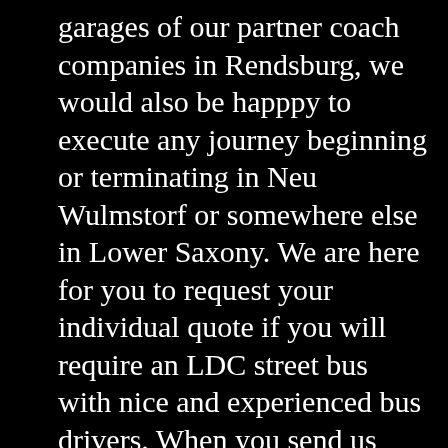garages of our partner coach companies in Rendsburg, we would also be happpy to execute any journey beginning or terminating in Neu Wulmstorf or somewhere else in Lower Saxony. We are here for you to request your individual quote if you will require an LDC street bus with nice and experienced bus drivers. When you send us your request at info@citytours-germany.com about your upcoming vehicle charter for a distant bus ride in Europe, please mention the pickup address and the destination address